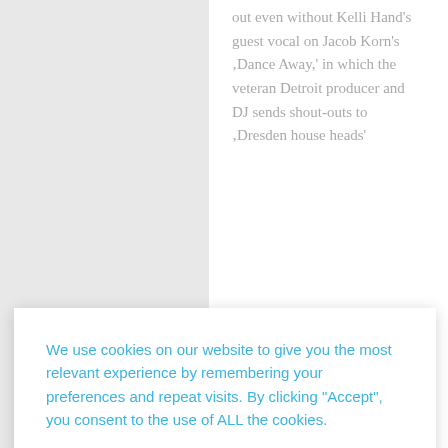out even without Kelli Hand's guest vocal on Jacob Korn's ‚Dance Away,' in which the veteran Detroit producer and DJ sends shout-outs to ‚Dresden house heads'
We use cookies on our website to give you the most relevant experience by remembering your preferences and repeat visits. By clicking "Accept", you consent to the use of ALL the cookies.
Cookie settings
ACCEPT
much obvious love (and talent), everyone wins. Compared to his records for Dolly and Left of the Dial, it's a distinctly different vibe for Korn, sounding more like Philpot's carefree, jazzy, slightly